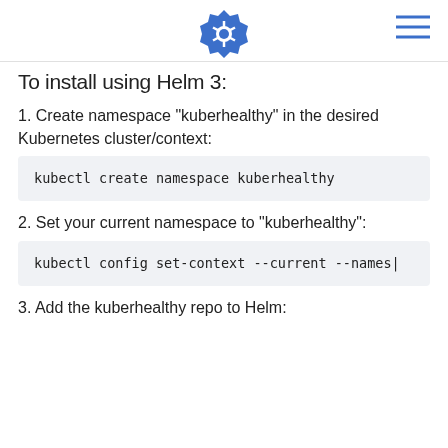[Kubernetes logo and navigation menu]
To install using Helm 3:
1. Create namespace "kuberhealthy" in the desired Kubernetes cluster/context:
kubectl create namespace kuberhealthy
2. Set your current namespace to "kuberhealthy":
kubectl config set-context --current --names|
3. Add the kuberhealthy repo to Helm: